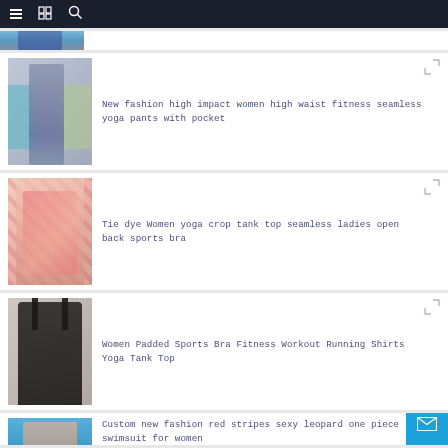Navigation bar with menu, catalog, and search icons
[Figure (photo): Partial product card showing a person in blue/denim clothing, cropped at top]
New fashion high impact women high waist fitness seamless yoga pants with pocket
Tie dye Women yoga crop tank top seamless ladies open back sports bra
Women Padded Sports Bra Fitness Workout Running Shirts Yoga Tank Top
Custom new fashion red stripes sexy leopard one piece swimsuit for women